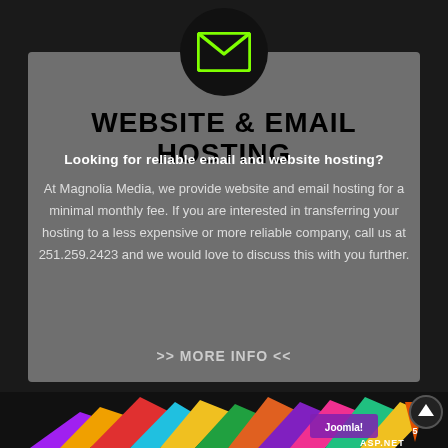[Figure (logo): Black circle with a green outline envelope/mail icon centered at top]
WEBSITE & EMAIL HOSTING
Looking for reliable email and website hosting?
At Magnolia Media, we provide website and email hosting for a minimal monthly fee. If you are interested in transferring your hosting to a less expensive or more reliable company, call us at 251.259.2423 and we would love to discuss this with you further.
>> MORE INFO <<
[Figure (photo): Colorful 3D geometric blocks/shapes with technology branding text including Joomla, ASP.NET, HTML5 and other web technology logos]